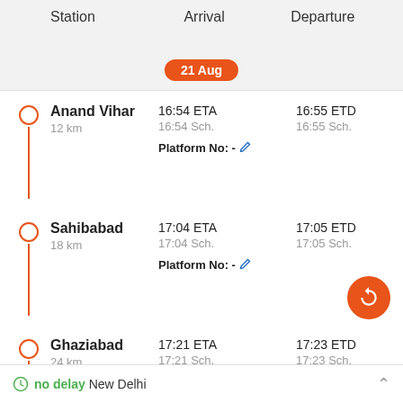Station | Arrival | Departure | 21 Aug
Anand Vihar | 12 km | 16:54 ETA | 16:55 ETD | 16:54 Sch. | 16:55 Sch. | Platform No: -
Sahibabad | 18 km | 17:04 ETA | 17:05 ETD | 17:04 Sch. | 17:05 Sch. | Platform No: -
Ghaziabad | 24 km | 17:21 ETA | 17:23 ETD | 17:21 Sch. | 17:23 Sch. | Platform No: -
no delay New Delhi